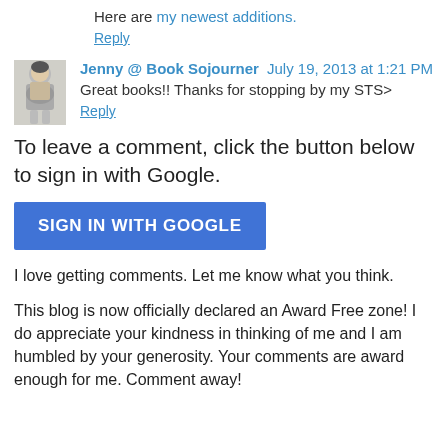Here are my newest additions.
Reply
Jenny @ Book Sojourner  July 19, 2013 at 1:21 PM
Great books!! Thanks for stopping by my STS>
Reply
To leave a comment, click the button below to sign in with Google.
SIGN IN WITH GOOGLE
I love getting comments. Let me know what you think.
This blog is now officially declared an Award Free zone! I do appreciate your kindness in thinking of me and I am humbled by your generosity. Your comments are award enough for me. Comment away!